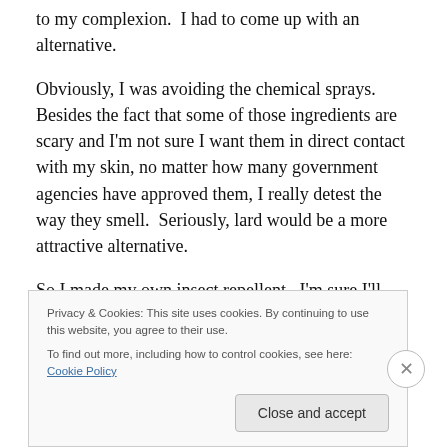to my complexion.  I had to come up with an alternative.
Obviously, I was avoiding the chemical sprays.  Besides the fact that some of those ingredients are scary and I'm not sure I want them in direct contact with my skin, no matter how many government agencies have approved them, I really detest the way they smell.  Seriously, lard would be a more attractive alternative.
So I made my own insect repellent.  I'm sure I'll refine the formula and application methods as the seasons pass, but
Privacy & Cookies: This site uses cookies. By continuing to use this website, you agree to their use.
To find out more, including how to control cookies, see here: Cookie Policy
Close and accept